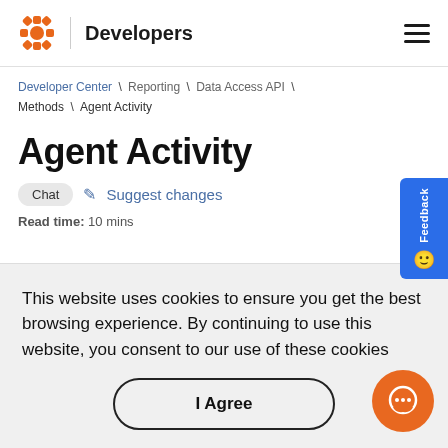Developers
Developer Center \ Reporting \ Data Access API \ Methods \ Agent Activity
Agent Activity
Chat  Suggest changes
Read time: 10 mins
This website uses cookies to ensure you get the best browsing experience. By continuing to use this website, you consent to our use of these cookies.